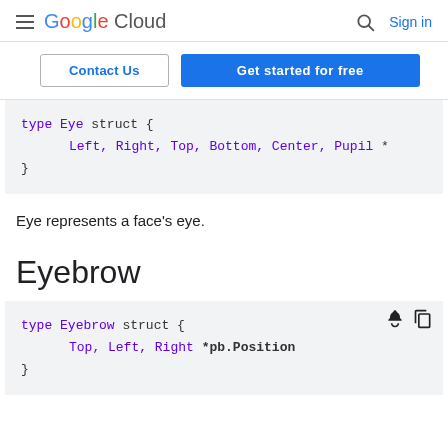Google Cloud  Sign in
[Figure (screenshot): Contact Us and Get started for free buttons bar]
[Figure (screenshot): Code block showing: type Eye struct { Left, Right, Top, Bottom, Center, Pupil * }]
Eye represents a face's eye.
Eyebrow
[Figure (screenshot): Code block showing: type Eyebrow struct { Top, Left, Right *pb.Position }]